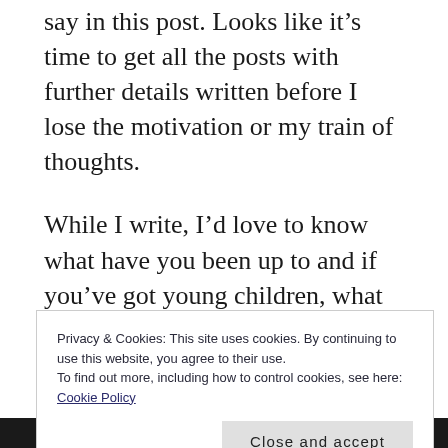say in this post. Looks like it’s time to get all the posts with further details written before I lose the motivation or my train of thoughts.
While I write, I’d love to know what have you been up to and if you’ve got young children, what are your plans for upcoming school holidays.
The song on my mind: Ye raatein navi purani ~
Privacy & Cookies: This site uses cookies. By continuing to use this website, you agree to their use.
To find out more, including how to control cookies, see here: Cookie Policy
Close and accept